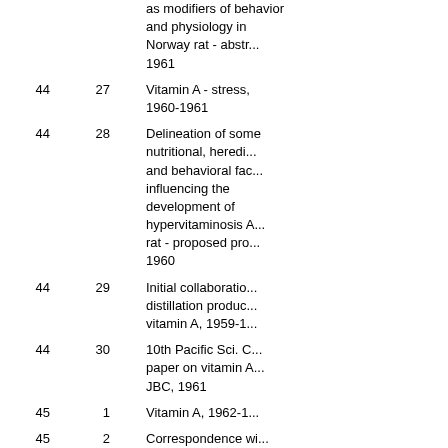| Box | Folder |  | Description |
| --- | --- | --- | --- |
|  |  |  | as modifiers of behavior and physiology in Norway rat - abstract, 1961 |
| 44 | 27 |  | Vitamin A - stress, 1960-1961 |
| 44 | 28 |  | Delineation of some nutritional, hereditary, and behavioral factors influencing the development of hypervitaminosis A in rat - proposed program, 1960 |
| 44 | 29 |  | Initial collaboration on distillation products of vitamin A, 1959-1961 |
| 44 | 30 |  | 10th Pacific Sci. Cong. paper on vitamin A in JBC, 1961 |
| 45 | 1 |  | Vitamin A, 1962-1... |
| 45 | 2 |  | Correspondence with Mark R. Bobenzwe... recognition of the... |